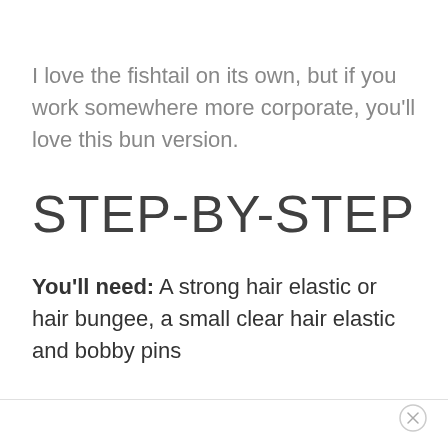I love the fishtail on its own, but if you work somewhere more corporate, you'll love this bun version.
STEP-BY-STEP
You'll need: A strong hair elastic or hair bungee, a small clear hair elastic and bobby pins